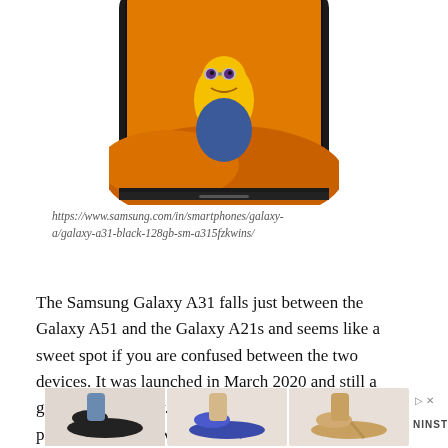[Figure (photo): Bottom portion of a Samsung Galaxy A31 smartphone with a black frame, showing an orange Android wallpaper with a cartoon character]
https://www.samsung.com/in/smartphones/galaxy-a/galaxy-a31-black-128gb-sm-a315fzkwins/
The Samsung Galaxy A31 falls just between the Galaxy A51 and the Galaxy A21s and seems like a sweet spot if you are confused between the two devices. It was launched in March 2020 and still a great choice to buy. Starting with the design, it has a plain plastic back with a geometrical pattern.
[Figure (photo): Advertisement banner showing three photos of women's high-heeled shoes (black mule, blue glitter heels, tan strappy heels) with NINSTREE branding]